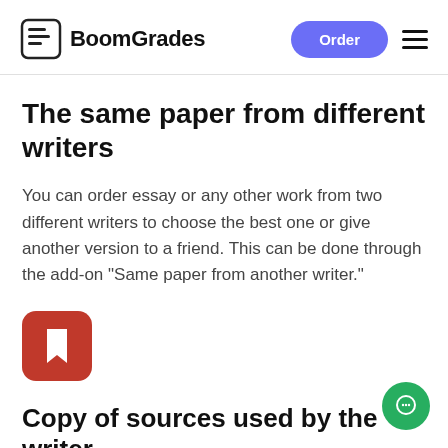BoomGrades
The same paper from different writers
You can order essay or any other work from two different writers to choose the best one or give another version to a friend. This can be done through the add-on "Same paper from another writer."
[Figure (logo): Red rounded square icon with a white bookmark symbol]
Copy of sources used by the writer